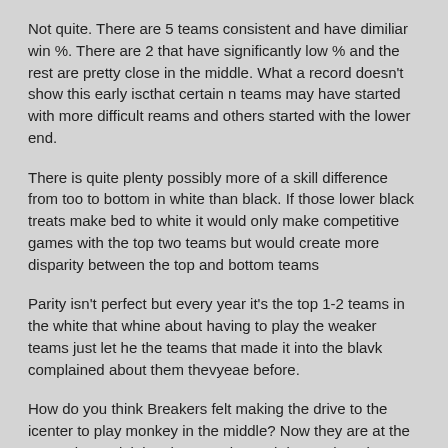Not quite. There are 5 teams consistent and have dimiliar win %. There are 2 that have significantly low % and the rest are pretty close in the middle. What a record doesn't show this early iscthat certain n teams may have started with more difficult reams and others started with the lower end.
There is quite plenty possibly more of a skill difference from too to bottom in white than black. If those lower black treats make bed to white it would only make competitive games with the top two teams but would create more disparity between the top and bottom teams
Parity isn't perfect but every year it's the top 1-2 teams in the white that whine about having to play the weaker teams just let he the teams that made it into the blavk complained about them thevyeae before.
How do you think Breakers felt making the drive to the icenter to play monkey in the middle? Now they are at the top and complaining they are do much better then the other teams in the white it's not fair? Wah wah wah
Quote
Reply
Anon